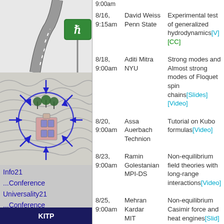[Figure (illustration): Road with green highway sign showing h-bar symbol (KITP logo)]
[Figure (illustration): Stylized map with blue arrows pointing to a central building icon (conference map)]
Info21
...Conference
Universality21
...Conference
This Week
Next Week
Online Talks >
...newest
Podcast
...help?
| Date/Time | Speaker | Talk |
| --- | --- | --- |
| 8/16, 9:15am | David Weiss Penn State | Experimental test of generalized hydrodynamics[V][CC] |
| 8/18, 9:00am | Aditi Mitra NYU | Strong modes and Almost strong modes of Floquet spin chains[Slides][Video] |
| 8/20, 9:00am | Assa Auerbach Technion | Tutorial on Kubo formulas[Video] |
| 8/23, 9:00am | Ramin Golestanian MPI-DS | Non-equilibrium field theories with long-range interactions[Video] |
| 8/25, 9:00am | Mehran Kardar MIT | Non-equilibrium Casimir force and heat engines[Slides][Video] |
| 8/27, 9:00am | Sebastian Diehl Univ. of Cologne | Overview: critical and universality in driven open quantum systems[Video] |
Transport and